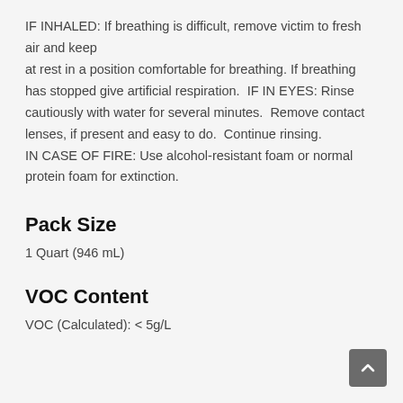IF INHALED: If breathing is difficult, remove victim to fresh air and keep at rest in a position comfortable for breathing. If breathing has stopped give artificial respiration.  IF IN EYES: Rinse cautiously with water for several minutes.  Remove contact lenses, if present and easy to do.  Continue rinsing.
IN CASE OF FIRE: Use alcohol-resistant foam or normal protein foam for extinction.
Pack Size
1 Quart (946 mL)
VOC Content
VOC (Calculated): < 5g/L